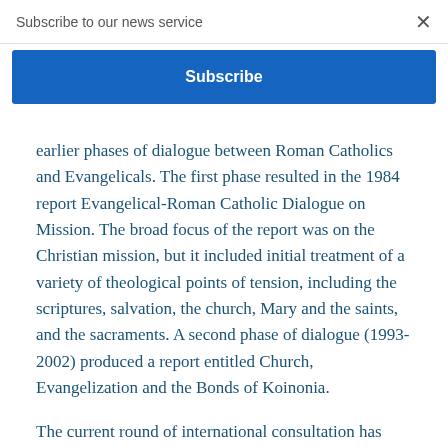Subscribe to our news service
×
Subscribe
earlier phases of dialogue between Roman Catholics and Evangelicals. The first phase resulted in the 1984 report Evangelical-Roman Catholic Dialogue on Mission. The broad focus of the report was on the Christian mission, but it included initial treatment of a variety of theological points of tension, including the scriptures, salvation, the church, Mary and the saints, and the sacraments. A second phase of dialogue (1993- 2002) produced a report entitled Church, Evangelization and the Bonds of Koinonia.
The current round of international consultation has held meetings in São Paulo, Brazil (2000),